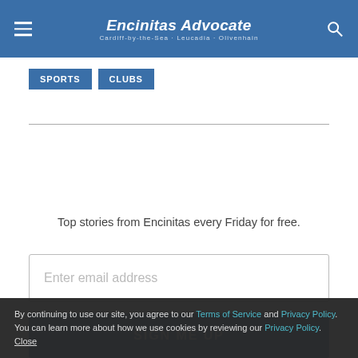Encinitas Advocate
SPORTS  CLUBS
Top stories from Encinitas every Friday for free.
Enter email address
SIGN ME UP
By continuing to use our site, you agree to our Terms of Service and Privacy Policy. You can learn more about how we use cookies by reviewing our Privacy Policy. Close